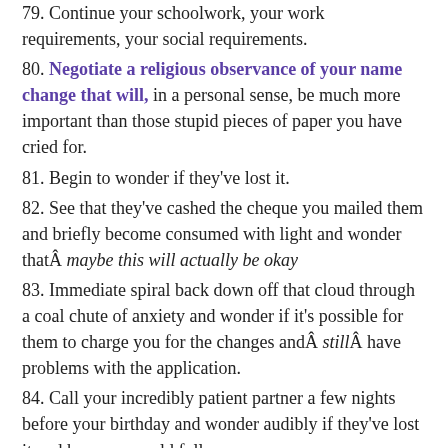79. Continue your schoolwork, your work requirements, your social requirements.
80. Negotiate a religious observance of your name change that will, in a personal sense, be much more important than those stupid pieces of paper you have cried for.
81. Begin to wonder if they've lost it.
82. See that they've cashed the cheque you mailed them and briefly become consumed with light and wonder thatÂ maybe this will actually be okay
83. Immediate spiral back down off that cloud through a coal chute of anxiety and wonder if it's possible for them to charge you for the changes andÂ stillÂ have problems with the application.
84. Call your incredibly patient partner a few nights before your birthday and wonder audibly if they've lost it and how you could follow up.
85. Find yourself in tears for the twelveteenth time